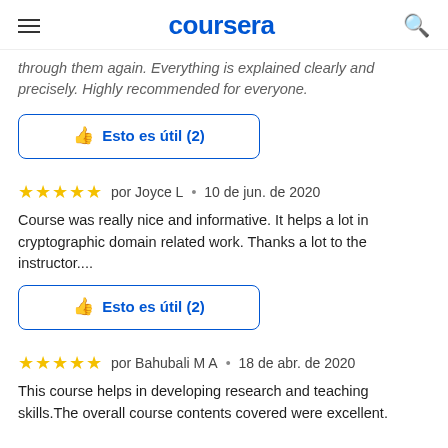coursera
through them again. Everything is explained clearly and precisely. Highly recommended for everyone.
Esto es útil (2)
★★★★★  por Joyce L  •  10 de jun. de 2020
Course was really nice and informative. It helps a lot in cryptographic domain related work. Thanks a lot to the instructor....
Esto es útil (2)
★★★★★  por Bahubali M A  •  18 de abr. de 2020
This course helps in developing research and teaching skills.The overall course contents covered were excellent.